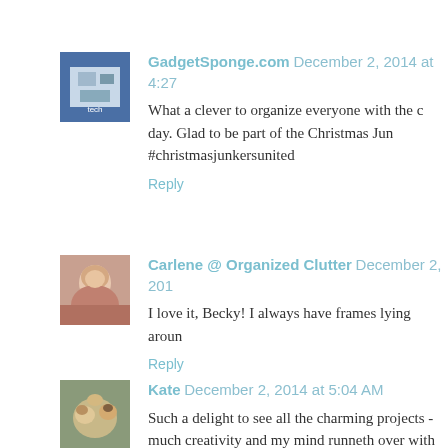GadgetSponge.com December 2, 2014 at 4:27
What a clever to organize everyone with the c day. Glad to be part of the Christmas Jun #christmasjunkersunited
Reply
Carlene @ Organized Clutter December 2, 201
I love it, Becky! I always have frames lying aroun
Reply
Kate December 2, 2014 at 5:04 AM
Such a delight to see all the charming projects - much creativity and my mind runneth over with ic
Reply